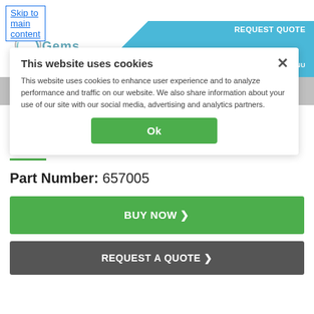Skip to main content
REQUEST QUOTE | SEARCH | MENU
This website uses cookies
This website uses cookies to enhance user experience and to analyze performance and traffic on our website. We also share information about your use of our site with our social media, advertising and analytics partners.
Ok
< BACK TO PRODUCT SEARCH
PRESSURE SWITCHES & TRANSDUCERS
PS98 SOLID STATE PRESSURE SWITCH
Part Number: 657005
BUY NOW >
REQUEST A QUOTE >